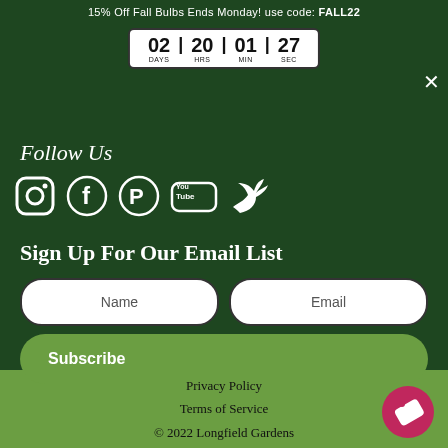15% Off Fall Bulbs Ends Monday! use code: FALL22
[Figure (infographic): Countdown timer showing 02 DAYS | 20 HRS | 01 MIN | 27 SEC in a white bordered box]
Follow Us
[Figure (infographic): Social media icons: Instagram, Facebook, Pinterest, YouTube, Twitter — all white on dark green background]
Sign Up For Our Email List
Name
Email
Subscribe
Privacy Policy
Terms of Service
© 2022 Longfield Gardens